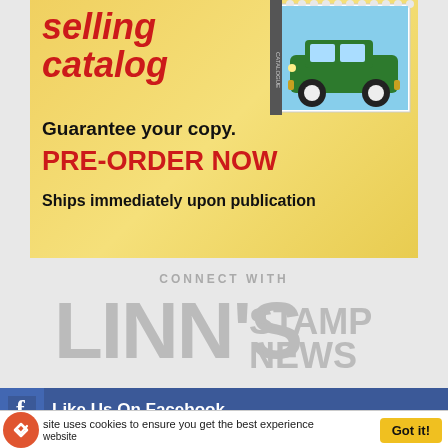[Figure (illustration): Advertisement banner with yellow/gold background showing 'selling catalog' in red italic bold text, a postage stamp image of a vintage green car in the top right, 'Guarantee your copy.' in black bold, 'PRE-ORDER NOW' in red bold, and 'Ships immediately upon publication' in black bold.]
CONNECT WITH
LINN'S STAMP NEWS
Like Us On Facebook
site uses cookies to ensure you get the best experience
website
Got it!